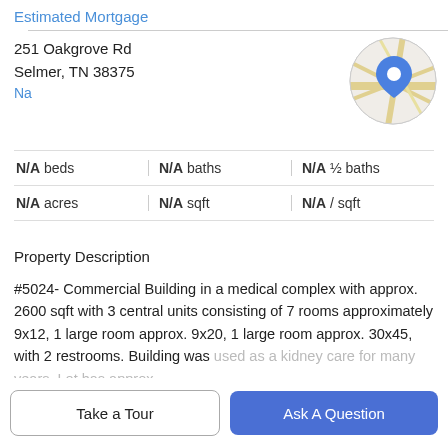Estimated Mortgage
251 Oakgrove Rd
Selmer, TN 38375
Na
[Figure (map): Circular map thumbnail showing a location pin on a street map]
N/A beds | N/A baths | N/A ½ baths | N/A acres | N/A sqft | N/A / sqft
Property Description
#5024- Commercial Building in a medical complex with approx. 2600 sqft with 3 central units consisting of 7 rooms approximately 9x12, 1 large room approx. 9x20, 1 large room approx. 30x45, with 2 restrooms. Building was used as a kidney care for many years. Lot has approx.
Take a Tour
Ask A Question